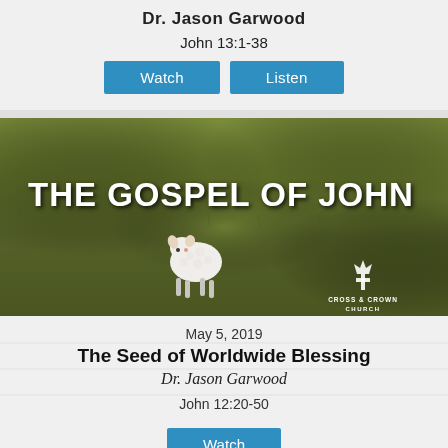Dr. Jason Garwood
John 13:1-38
Watch   Listen
[Figure (photo): Sermon series image for 'The Gospel of John' showing a white lamb standing in a green grassy field with bold white text overlay reading 'THE GOSPEL OF JOHN' and a Cross & Crown Church logo in the bottom right corner.]
May 5, 2019
The Seed of Worldwide Blessing
Dr. Jason Garwood
John 12:20-50
Watch